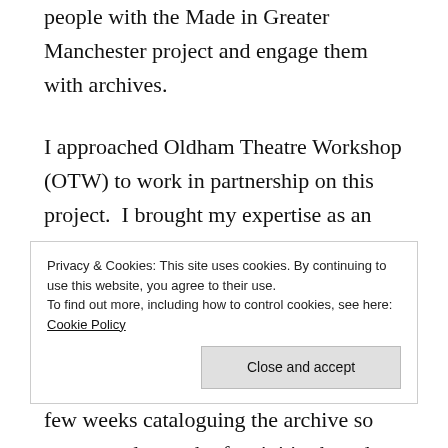people with the Made in Greater Manchester project and engage them with archives.

I approached Oldham Theatre Workshop (OTW) to work in partnership on this project.  I brought my expertise as an archivist and the archives and they provided a pool of young people, organisational and theatre skills and knowledge.  It became clear that the young people were unlikely to sit for a few weeks cataloguing the archive so we created a week of activities based around archives and the stories they tell to engage them.  The end result was for them to
Privacy & Cookies: This site uses cookies. By continuing to use this website, you agree to their use.
To find out more, including how to control cookies, see here: Cookie Policy

Close and accept